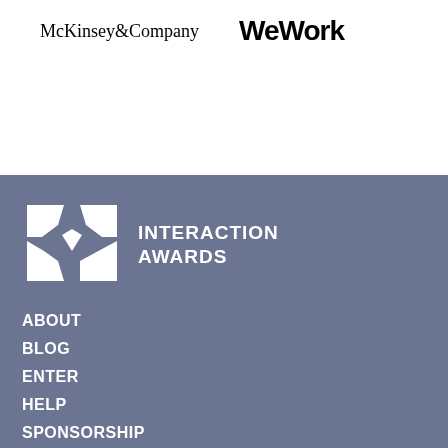[Figure (logo): McKinsey & Company logo in black serif font]
[Figure (logo): WeWork logo in bold black sans-serif font]
[Figure (logo): Interaction Awards logo - two overlapping bowtie/cross shapes in white on slate background]
INTERACTION AWARDS
ABOUT
BLOG
ENTER
HELP
SPONSORSHIP
TERMS
ARCHIVE
2021
2020
2019